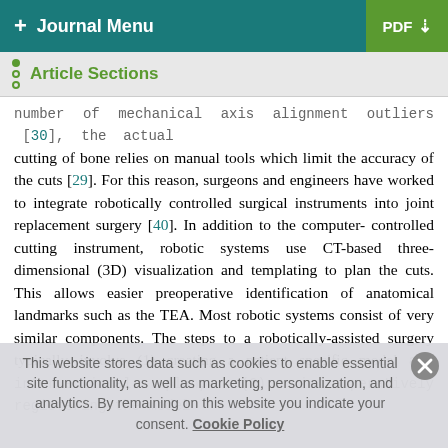+ Journal Menu | PDF ↓
Article Sections
number of mechanical axis alignment outliers [30], the actual cutting of bone relies on manual tools which limit the accuracy of the cuts [29]. For this reason, surgeons and engineers have worked to integrate robotically controlled surgical instruments into joint replacement surgery [40]. In addition to the computer-controlled cutting instrument, robotic systems use CT-based three-dimensional (3D) visualization and templating to plan the cuts. This allows easier preoperative identification of anatomical landmarks such as the TEA. Most robotic systems consist of very similar components. The steps to a robotically-assisted surgery typically involve (1) creating a patient specific model and interventional plan, (2) intraoperatively registering the model
This website stores data such as cookies to enable essential site functionality, as well as marketing, personalization, and analytics. By remaining on this website you indicate your consent. Cookie Policy